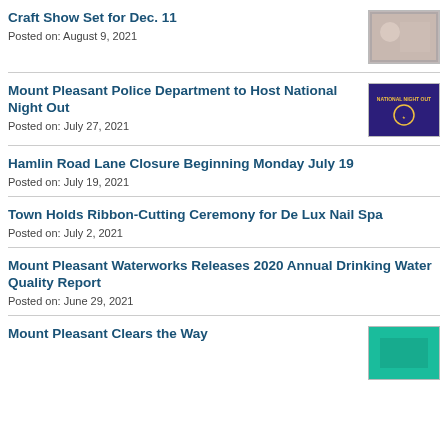Craft Show Set for Dec. 11
Posted on: August 9, 2021
Mount Pleasant Police Department to Host National Night Out
Posted on: July 27, 2021
Hamlin Road Lane Closure Beginning Monday July 19
Posted on: July 19, 2021
Town Holds Ribbon-Cutting Ceremony for De Lux Nail Spa
Posted on: July 2, 2021
Mount Pleasant Waterworks Releases 2020 Annual Drinking Water Quality Report
Posted on: June 29, 2021
Mount Pleasant Clears the Way